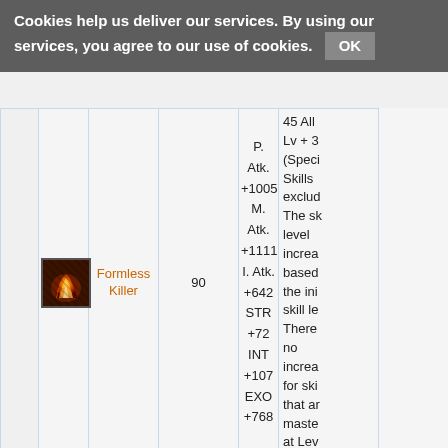Cookies help us deliver our services. By using our services, you agree to our use of cookies. OK
|  |  | Name | Lv | Stats | Description |
| --- | --- | --- | --- | --- | --- |
| [icon] |  | Formless Killer | 90 | P. Atk. +1005
M. Atk. +1111
I. Atk. +642
STR +72
INT +107
EXO +768 | 45 All Lv + 3 (Speci Skills exclud The sk level increa based the ini skill le There no increa for ski that ar maste at Lev |
|  |  |  |  |  | All Lev 1-85 A |